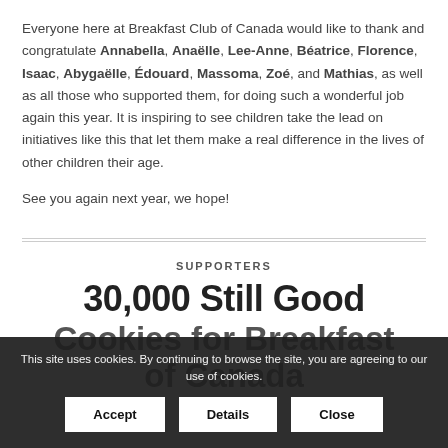Everyone here at Breakfast Club of Canada would like to thank and congratulate Annabella, Anaëlle, Lee-Anne, Béatrice, Florence, Isaac, Abygaëlle, Édouard, Massoma, Zoé, and Mathias, as well as all those who supported them, for doing such a wonderful job again this year. It is inspiring to see children take the lead on initiatives like this that let them make a real difference in the lives of other children their age.

See you again next year, we hope!
SUPPORTERS
30,000 Still Good Cookies for Breakfast of Canada
This site uses cookies. By continuing to browse the site, you are agreeing to our use of cookies.